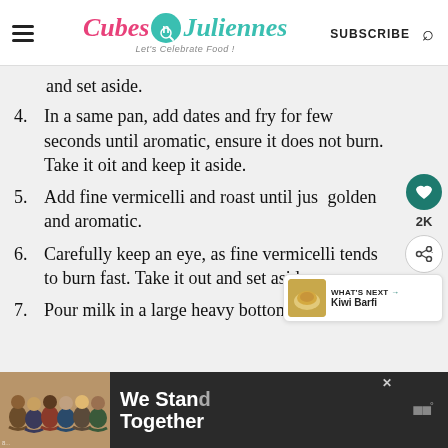Cubes n Juliennes - Let's Celebrate Food!
and set aside.
4. In a same pan, add dates and fry for few seconds until aromatic, ensure it does not burn. Take it oit and keep it aside.
5. Add fine vermicelli and roast until just golden and aromatic.
6. Carefully keep an eye, as fine vermicelli tends to burn fast. Take it out and set aside.
7. Pour milk in a large heavy bottom pot
[Figure (infographic): Advertisement banner showing group of people with text 'We Stand Together']